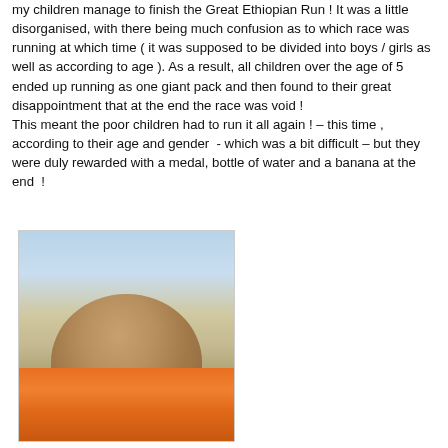my children manage to finish the Great Ethiopian Run ! It was a little disorganised, with there being much confusion as to which race was running at which time ( it was supposed to be divided into boys / girls as well as according to age ). As a result, all children over the age of 5 ended up running as one giant pack and then found to their great disappointment that at the end the race was void ! This meant the poor children had to run it all again ! – this time , according to their age and gender - which was a bit difficult – but they were duly rewarded with a medal, bottle of water and a banana at the end !
[Figure (photo): A young boy wearing an orange sports vest with a blue medal/lanyard around his neck, standing outdoors at what appears to be a running event with other people visible in the background.]